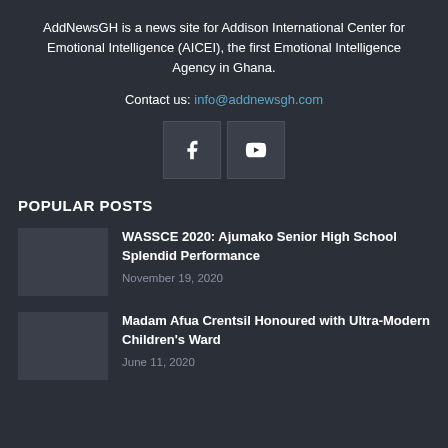AddNewsGH is a news site for Addison International Center for Emotional Intelligence (AICEI), the first Emotional Intelligence Agency in Ghana.
Contact us: info@addnewsgh.com
[Figure (infographic): Social media icons: Facebook and YouTube buttons]
POPULAR POSTS
WASSCE 2020: Ajumako Senior High School Splendid Performance
November 19, 2020
Madam Afua Crentsil Honoured with Ultra-Modern Children's Ward
June 11, 2020